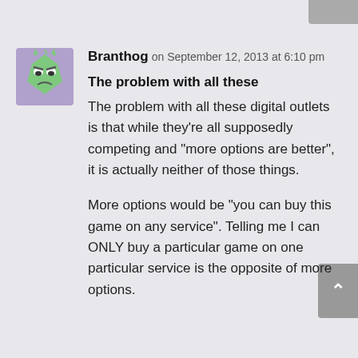[Figure (illustration): Pixel avatar of a green angry-looking cartoon creature on a purple/lavender background]
Branthog on September 12, 2013 at 6:10 pm
The problem with all these
The problem with all these digital outlets is that while they’re all supposedly competing and “more options are better”, it is actually neither of those things.
More options would be “you can buy this game on any service”. Telling me I can ONLY buy a particular game on one particular service is the opposite of more options.